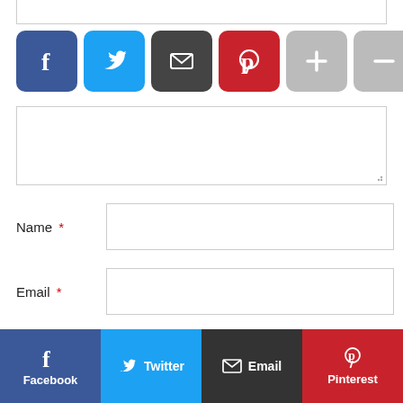[Figure (screenshot): Social share button row with Facebook (blue), Twitter (light blue), Email (dark grey), Pinterest (red), plus and minus (grey) icon buttons]
[Figure (screenshot): Comment form with textarea and fields for Name (required), Email (required), Website, and a checkbox for saving info in browser]
Name *
Email *
Website
Save my name, email, and website in this browser for the
[Figure (screenshot): Bottom share bar with four buttons: Facebook, Twitter, Email, Pinterest]